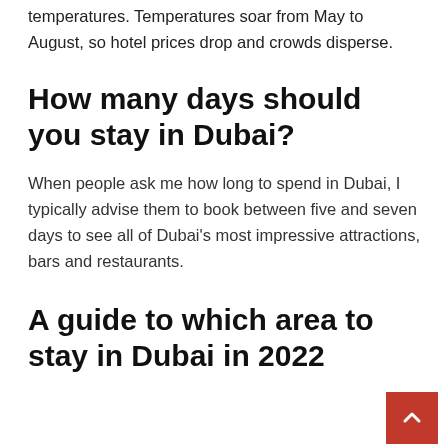temperatures. Temperatures soar from May to August, so hotel prices drop and crowds disperse.
How many days should you stay in Dubai?
When people ask me how long to spend in Dubai, I typically advise them to book between five and seven days to see all of Dubai's most impressive attractions, bars and restaurants.
A guide to which area to stay in Dubai in 2022